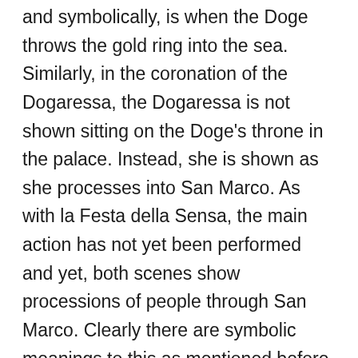and symbolically, is when the Doge throws the gold ring into the sea. Similarly, in the coronation of the Dogaressa, the Dogaressa is not shown sitting on the Doge's throne in the palace. Instead, she is shown as she processes into San Marco. As with la Festa della Sensa, the main action has not yet been performed and yet, both scenes show processions of people through San Marco. Clearly there are symbolic meanings to this as mentioned before, however, there are also visual ones. The piazza itself creates a stage for the Doge and the Dogaressa within their respective crowds. The buildings around them, that include some of the most important buildings for the Venetian Republic, serve to frame them. It is difficult to determine who is depicted as there are so many details in both works and the viewer is separated by the lagoon and boat filled foreground. However, the focus of the works of art is made clear by